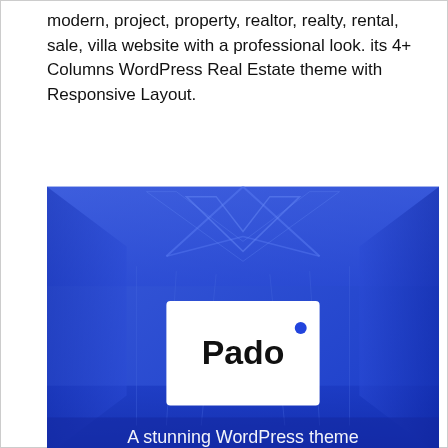modern, project, property, realtor, realty, rental, sale, villa website with a professional look. its 4+ Columns WordPress Real Estate theme with Responsive Layout.
[Figure (screenshot): Screenshot of the 'Pado' WordPress theme — a blue-toned interior room background with a white card in the center displaying the Pado logo (bold black text with a blue dot accent) and partial text at the bottom reading 'A stunning WordPress theme'.]